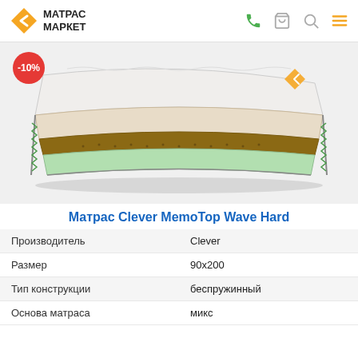МАТРАС МАРКЕТ
[Figure (photo): Cross-section view of Matras Clever MemoTop Wave Hard mattress showing layers including memory foam, coconut fiber, and green foam base. A red -10% discount badge is visible in the top left corner. Brand logo in orange on the right side.]
Матрас Clever MemoTop Wave Hard
| Производитель | Clever |
| Размер | 90х200 |
| Тип конструкции | беспружинный |
| Основа матраса | микс |